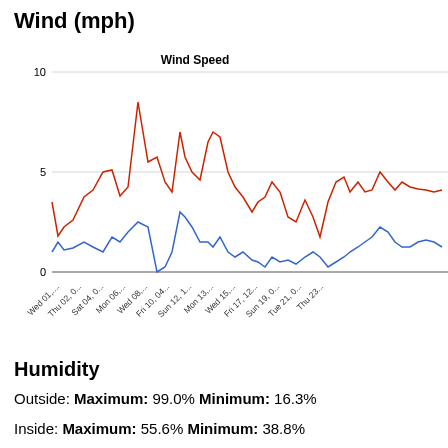Wind (mph)
[Figure (line-chart): Wind Speed]
Humidity
Outside: Maximum: 99.0% Minimum: 16.3%
Inside: Maximum: 55.6% Minimum: 38.8%